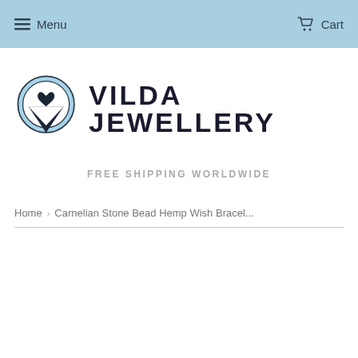Menu   Cart
[Figure (logo): Vilda Jewellery logo with a circular light blue badge containing a heart-shaped V mark, with a checkmark V below it, beside the text VILDA JEWELLERY in bold dark letters]
FREE SHIPPING WORLDWIDE
Home > Carnelian Stone Bead Hemp Wish Bracel...